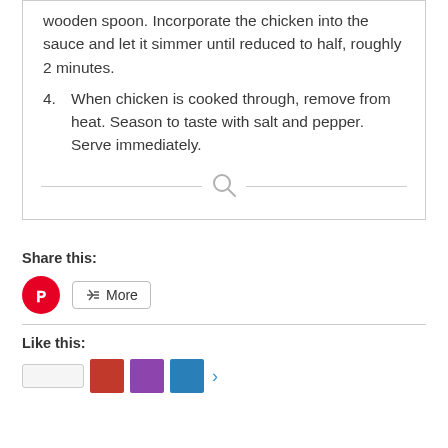wooden spoon. Incorporate the chicken into the sauce and let it simmer until reduced to half, roughly 2 minutes.
4. When chicken is cooked through, remove from heat. Season to taste with salt and pepper. Serve immediately.
Share this:
Like this: